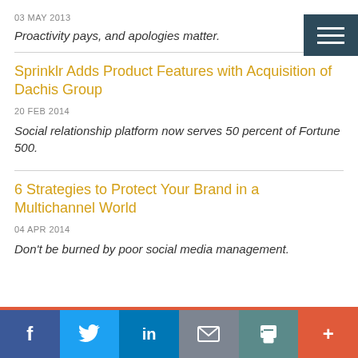03 MAY 2013
Proactivity pays, and apologies matter.
Sprinklr Adds Product Features with Acquisition of Dachis Group
20 FEB 2014
Social relationship platform now serves 50 percent of Fortune 500.
6 Strategies to Protect Your Brand in a Multichannel World
04 APR 2014
Don't be burned by poor social media management.
f  t  in  mail  print  +